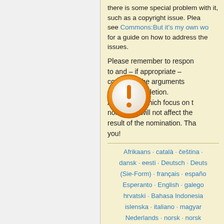there is some special problem with it, such as a copyright issue. Please see Commons:But it's my own wo for a guide on how to address the issues.
Please remember to respond to and – if appropriate – contradict the arguments supporting deletion. Arguments which focus on the nominator will not affect the result of the nomination. Thank you!
[Figure (illustration): Orange circle warning icon with white exclamation mark]
Afrikaans · català · čeština · dansk · eesti · Deutsch · Deutsch (Sie-Form) · français · español · Esperanto · English · galego · hrvatski · Bahasa Indonesia · islenska · italiano · magyar · Nederlands · norsk · norsk